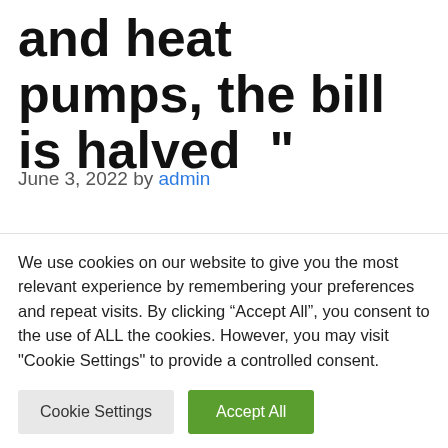and heat pumps, the bill is halved ”
June 3, 2022 by admin
Listen to the audio version of the article The states of the European Union must all act together to reduce the energy dependence of other countries and move to a new model
We use cookies on our website to give you the most relevant experience by remembering your preferences and repeat visits. By clicking “Accept All”, you consent to the use of ALL the cookies. However, you may visit "Cookie Settings" to provide a controlled consent.